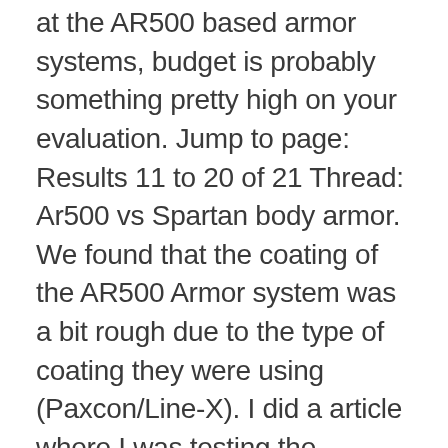at the AR500 based armor systems, budget is probably something pretty high on your evaluation. Jump to page: Results 11 to 20 of 21 Thread: Ar500 vs Spartan body armor. We found that the coating of the AR500 Armor system was a bit rough due to the type of coating they were using (Paxcon/Line-X). I did a article where I was testing the Spartan armor systems ar500 plate and I thought it'd be fun to get several different kinds of their armored plate and run them through the same tests that damaged the regular 500. Testudo Plate Carrier. }. Your email address will not be published. AR500 VS. AR550: What's the Difference? We got both plates at a discount during Black Friday and Cyber Monday of 2013. Our AR500 Armor Level III+ Lightweight body armor is designed to exceed the NIJ0101.06 Level III standard, stopping rounds with a velocity up to 3,000 FPS, and also